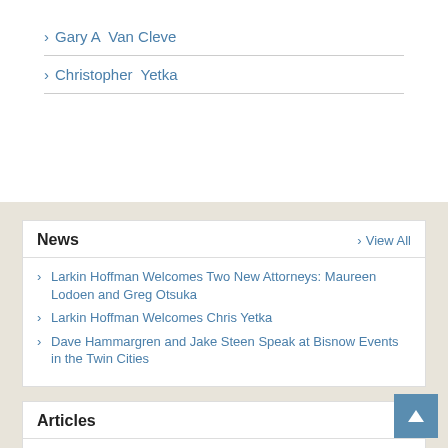Gary A  Van Cleve
Christopher  Yetka
News
Larkin Hoffman Welcomes Two New Attorneys: Maureen Lodoen and Greg Otsuka
Larkin Hoffman Welcomes Chris Yetka
Dave Hammargren and Jake Steen Speak at Bisnow Events in the Twin Cities
Articles
Mind the Gaps